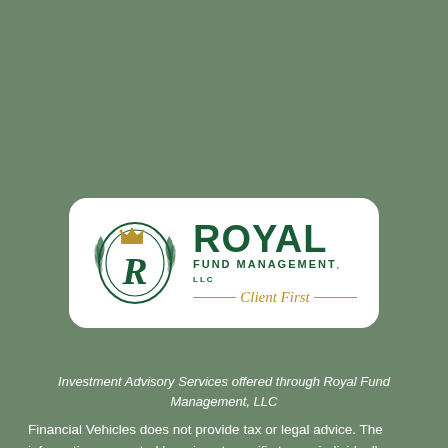[Figure (logo): Royal Fund Management, LLC logo with green circular emblem featuring stylized R and crown, with 'ROYAL' in large green letters, 'FUND MANAGEMENT, LLC' below, and 'Client First' in gold italic script with decorative lines]
Investment Advisory Services offered through Royal Fund Management, LLC
Financial Vehicles does not provide tax or legal advice. The information presented here is not specific to any individual's personal circumstances. To the extent that this material